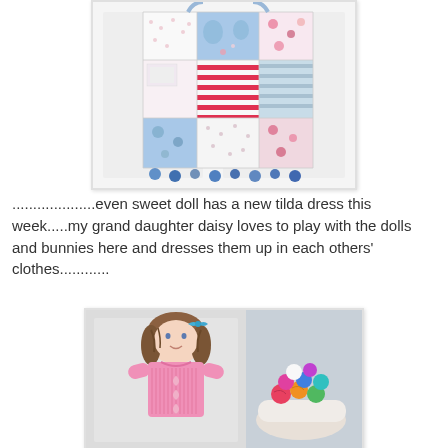[Figure (photo): A patchwork fabric tote bag with colorful patches including red stripes, floral prints, blue horse/unicorn patterns, hanging on a white surface with blue pom-pom trim at the bottom.]
....................even sweet doll has a new tilda dress this week.....my grand daughter daisy loves to play with the dolls and bunnies here and dresses them up in each others' clothes............
[Figure (photo): A handmade cloth doll with brown yarn hair and a blue bow, wearing a pink knitted cardigan with heart-shaped buttons, sitting next to a white bowl filled with colorful yarn balls/pom-poms.]